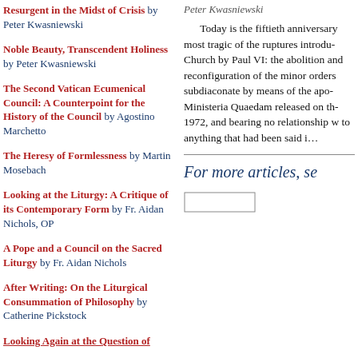Resurgent in the Midst of Crisis by Peter Kwasniewski
Noble Beauty, Transcendent Holiness by Peter Kwasniewski
The Second Vatican Ecumenical Council: A Counterpoint for the History of the Council by Agostino Marchetto
The Heresy of Formlessness by Martin Mosebach
Looking at the Liturgy: A Critique of its Contemporary Form by Fr. Aidan Nichols, OP
A Pope and a Council on the Sacred Liturgy by Fr. Aidan Nichols
After Writing: On the Liturgical Consummation of Philosophy by Catherine Pickstock
Looking Again at the Question of...
Peter Kwasniewski
Today is the fiftieth anniversary most tragic of the ruptures introduced Church by Paul VI: the abolition and reconfiguration of the minor orders and subdiaconate by means of the apostolic Ministeria Quaedam released on the 1972, and bearing no relationship whatsoever to anything that had been said i...
For more articles, see
[Figure (other): Search box input field]